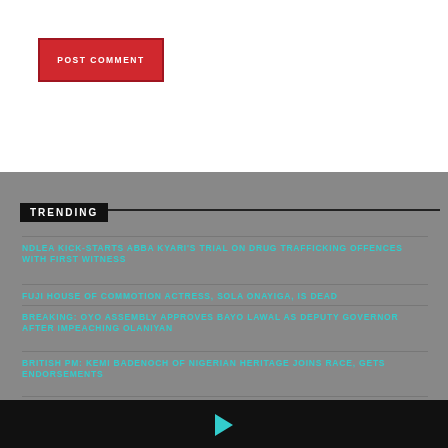[Figure (other): POST COMMENT button in red]
TRENDING
NDLEA KICK-STARTS ABBA KYARI'S TRIAL ON DRUG TRAFFICKING OFFENCES WITH FIRST WITNESS
FUJI HOUSE OF COMMOTION ACTRESS, SOLA ONAYIGA, IS DEAD
BREAKING: OYO ASSEMBLY APPROVES BAYO LAWAL AS DEPUTY GOVERNOR AFTER IMPEACHING OLANIYAN
BRITISH PM: KEMI BADENOCH OF NIGERIAN HERITAGE JOINS RACE, GETS ENDORSEMENTS
PROLONGED STRIKE: ENOUGH IS ENOUGH, BUHARI TELLS ASUU
(partially visible item at bottom)